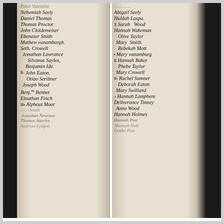[Figure (photo): Scanned historical document page showing two columns of handwritten names in cursive script on aged parchment, with dark edges indicating a bound register or list. Left column contains male names; right column contains female names. Names include Peter Valentine, Nehemiah Seely, Daniel Thomas, Thomas Proctor, John Cloidenwiser, Ebenezer Smith, Mathew vanamburgh, Seth Crowell, Jonathan Lawrance, Silvanus Sayles, Benjamin Ide, John Eaton, Otiao Scribner, Joseph Wood, Benj.m Bennet, Elnathan Finch, Alpheus Moor, and others partially legible. Right column includes Abigail Seely, Huldah Laspa, Sarah Wood, Hannah Wakeman, Olive Taylor, Mary Smith, Rebekah Mott, Mary vanamburg, Hannah Baker, Phebe Taylor, Mary Crowell, Rachel Sumner, Deborah Eaton, Mary Swilland, Hannah Lamphere, Deliverance Tinney, Anna Wood, Hannah Holmes, Hannah Post, Hannah Holt, Dosha Post and others.]